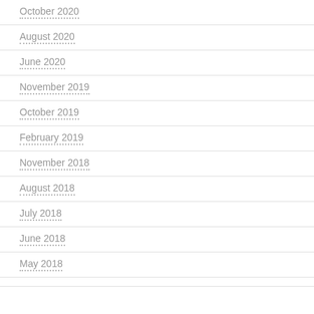October 2020
August 2020
June 2020
November 2019
October 2019
February 2019
November 2018
August 2018
July 2018
June 2018
May 2018